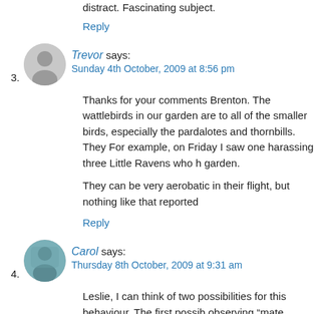distract. Fascinating subject.
Reply
3. Trevor says:
Sunday 4th October, 2009 at 8:56 pm

Thanks for your comments Brenton. The wattlebirds in our garden are to all of the smaller birds, especially the pardalotes and thornbills. They For example, on Friday I saw one harassing three Little Ravens who h garden.

They can be very aerobatic in their flight, but nothing like that reported
Reply
4. Carol says:
Thursday 8th October, 2009 at 9:31 am

Leslie, I can think of two possibilities for this behaviour. The first possib observing "mate guarding" behaviour, which is common in Australian h Around breeding time the male can be seen closely following the fema selects a nest site and builds the nest, he literally won't let her out of hi birds are joined by an invisible piece of string. This behaviour subsides purpose is to stop her mating with another male – he wants to be sure investing so much effort into the breeding attempt.